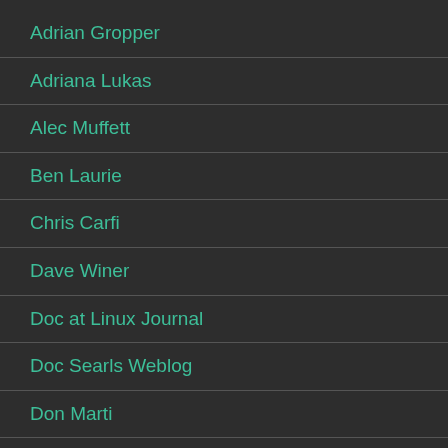Adrian Gropper
Adriana Lukas
Alec Muffett
Ben Laurie
Chris Carfi
Dave Winer
Doc at Linux Journal
Doc Searls Weblog
Don Marti
Eve Maler
Graham Sadd